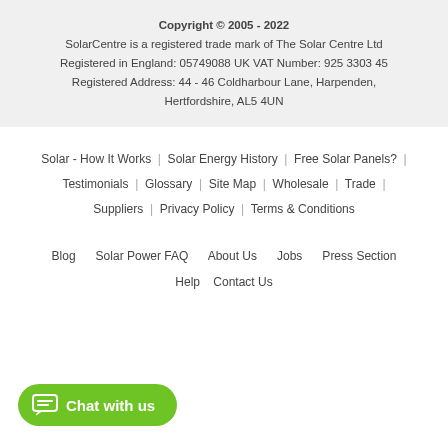Copyright © 2005 - 2022
SolarCentre is a registered trade mark of The Solar Centre Ltd
Registered in England: 05749088 UK VAT Number: 925 3303 45
Registered Address: 44 - 46 Coldharbour Lane, Harpenden, Hertfordshire, AL5 4UN
Solar - How It Works | Solar Energy History | Free Solar Panels? | Testimonials | Glossary | Site Map | Wholesale | Trade | Suppliers | Privacy Policy | Terms & Conditions
Blog  Solar Power FAQ  About Us  Jobs  Press Section  Help  Contact Us
[Figure (other): Green rounded button with chat icon and text 'Chat with us']